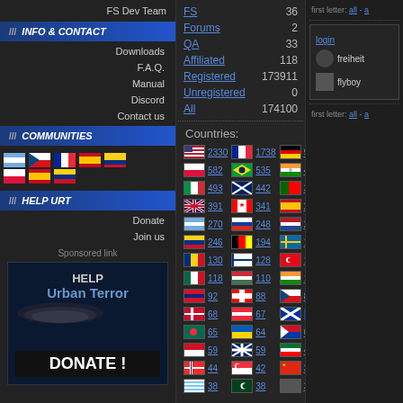FS Dev Team
INFO & CONTACT
Downloads
F.A.Q.
Manual
Discord
Contact us
COMMUNITIES
[Figure (other): Community flag icons row]
HELP URT
Donate
Join us
Sponsored link
[Figure (other): HELP Urban Terror DONATE! banner]
| Category | Count |
| --- | --- |
| FS | 36 |
| Forums | 2 |
| QA | 33 |
| Affiliated | 118 |
| Registered | 173911 |
| Unregistered | 0 |
| All | 174100 |
Countries:
[Figure (other): Country flags with counts: US 2330, FR 1738, DE 958, PL 582, BR 535, IN 497, IT 493, AU 442, PT 398, GB 391, CA 341, ES 273, AR 270, RU 248, NL 247, CO 246, BE 194, SE 158, RO 130, FI 128, TR 128, MX 118, HU 110, IN 103, VE 92, CH 88, CZ 84, DK 68, AT 67, 65, BD 65, UA 64, PH 61, ID 59, NZ 59, AE 45, NO 44, SG 42, CN 39, UY 38, PK 38, 36]
first letter: all - a
login
freiheit
flyboy
first letter: all - a